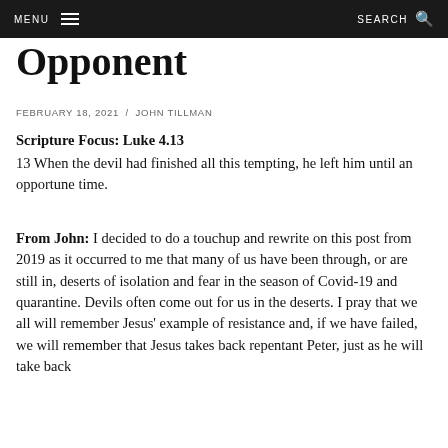MENU  SEARCH
Opponent
FEBRUARY 18, 2021 / JOHN TILLMAN
Scripture Focus: Luke 4.13
13 When the devil had finished all this tempting, he left him until an opportune time.
From John: I decided to do a touchup and rewrite on this post from 2019 as it occurred to me that many of us have been through, or are still in, deserts of isolation and fear in the season of Covid-19 and quarantine. Devils often come out for us in the deserts. I pray that we all will remember Jesus' example of resistance and, if we have failed, we will remember that Jesus takes back repentant Peter, just as he will take back